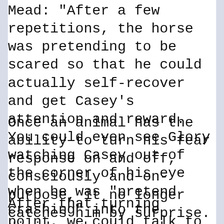Mead: "After a few repetitions, the horse was pretending to be scared so that he could actually self-recover and get Casey's attention and reward. You could even see Glory watching Casey out of the corner of his eye when he was "pretend crashing" into the divider; he was making sure Casey wasn't missing the show. "
Once an animal has the ability to turn his fear response on and off, consciously and on-purpose, it no longer catches him by surprise. At this point, the horse couldn't escalate into panic even if he wanted to.
After that turning point, we could talk to him a[obscured]ually